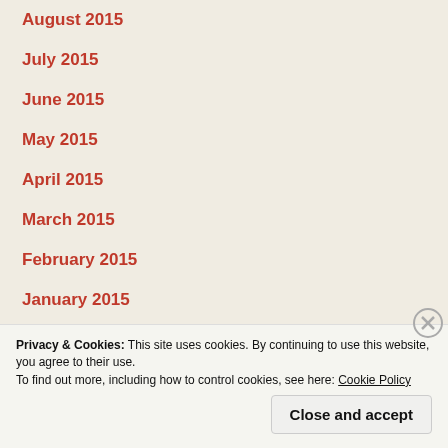August 2015
July 2015
June 2015
May 2015
April 2015
March 2015
February 2015
January 2015
December 2014
November 2014
Privacy & Cookies: This site uses cookies. By continuing to use this website, you agree to their use.
To find out more, including how to control cookies, see here: Cookie Policy
Close and accept